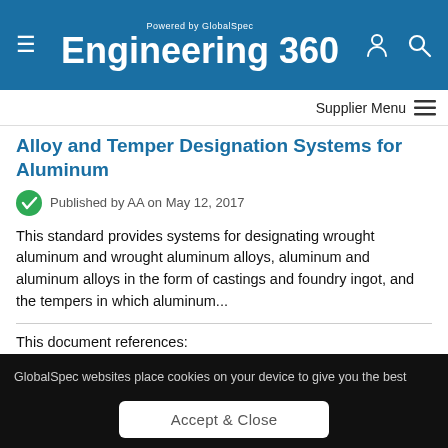Engineering 360 — Powered by GlobalSpec
Alloy and Temper Designation Systems for Aluminum
Published by AA on May 12, 2017
This standard provides systems for designating wrought aluminum and wrought aluminum alloys, aluminum and aluminum alloys in the form of castings and foundry ingot, and the tempers in which aluminum...
This document references:
ASTM B557 - Standard Test Methods for Tension
GlobalSpec websites place cookies on your device to give you the best user experience. By using our websites, you agree to the placement of these cookies. To learn more, read our Privacy Policy
Accept & Close